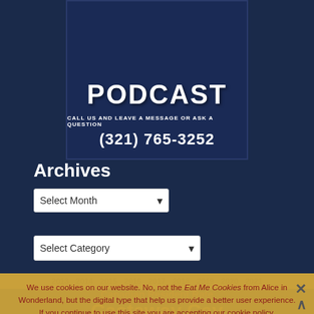[Figure (logo): Podcast logo banner with text PODCAST, CALL US AND LEAVE A MESSAGE OR ASK A QUESTION, phone number (321) 765-3252 on dark navy background]
Archives
Select Month (dropdown)
Select Category (dropdown)
2013 2014 2015 2016 2017 2018 2019 2020 2021
We use cookies on our website. No, not the Eat Me Cookies from Alice in Wonderland, but the digital type that help us provide a better user experience. If you continue to use this site you are accepting our cookie policy.
Accept   Read more
Canadian Resident Rate
Castaway Cay
coronavirus
Cozumel
Disney Dream
Disney Fantasy